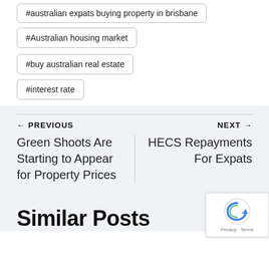#australian expats buying property in brisbane
#Australian housing market
#buy australian real estate
#interest rate
← PREVIOUS
Green Shoots Are Starting to Appear for Property Prices
NEXT →
HECS Repayments For Expats
Similar Posts